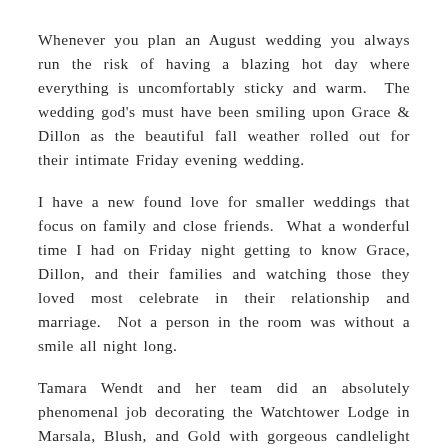Whenever you plan an August wedding you always run the risk of having a blazing hot day where everything is uncomfortably sticky and warm.  The wedding god's must have been smiling upon Grace & Dillon as the beautiful fall weather rolled out for their intimate Friday evening wedding.
I have a new found love for smaller weddings that focus on family and close friends.  What a wonderful time I had on Friday night getting to know Grace, Dillon, and their families and watching those they loved most celebrate in their relationship and marriage.  Not a person in the room was without a smile all night long.
Tamara Wendt and her team did an absolutely phenomenal job decorating the Watchtower Lodge in Marsala, Blush, and Gold with gorgeous candlelight everywhere you looked.  It looked like a venue straight out of a magazine.  And how amazing did Grace look in her